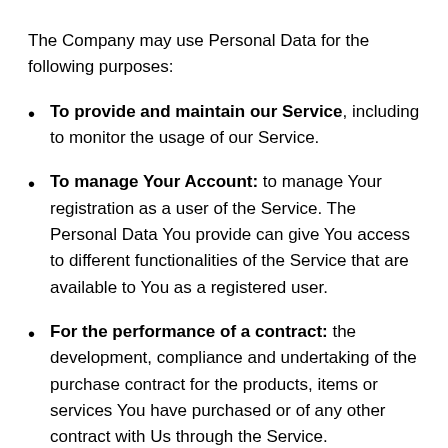The Company may use Personal Data for the following purposes:
To provide and maintain our Service, including to monitor the usage of our Service.
To manage Your Account: to manage Your registration as a user of the Service. The Personal Data You provide can give You access to different functionalities of the Service that are available to You as a registered user.
For the performance of a contract: the development, compliance and undertaking of the purchase contract for the products, items or services You have purchased or of any other contract with Us through the Service.